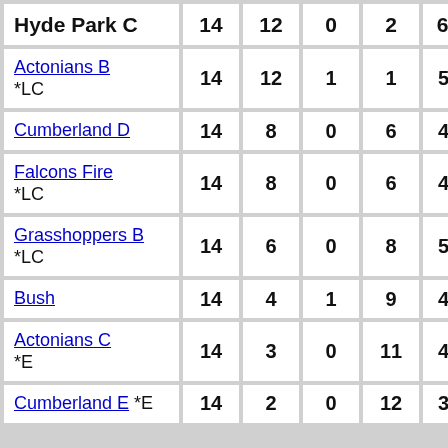| Team | P | W | D | L | F | A |
| --- | --- | --- | --- | --- | --- | --- |
| Hyde Park C | 14 | 12 | 0 | 2 | 629.0 | 460... |
| Actonians B *LC | 14 | 12 | 1 | 1 | 559.0 | 40... |
| Cumberland D | 14 | 8 | 0 | 6 | 460.0 | 41... |
| Falcons Fire *LC | 14 | 8 | 0 | 6 | 441.0 | 51... |
| Grasshoppers B *LC | 14 | 6 | 0 | 8 | 549.0 | 51... |
| Bush | 14 | 4 | 1 | 9 | 469.0 | 52... |
| Actonians C *E | 14 | 3 | 0 | 11 | 408.0 | 52... |
| Cumberland E *E | 14 | 2 | 0 | 12 | 327.0 | 48... |